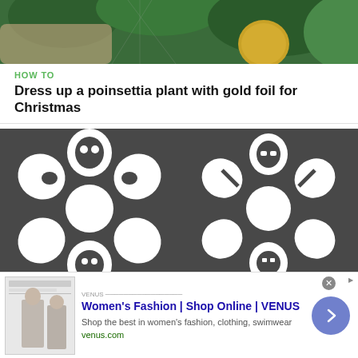[Figure (photo): Top portion of a video/article thumbnail showing hands near a poinsettia plant with gold foil decoration against green background]
HOW TO
Dress up a poinsettia plant with gold foil for Christmas
[Figure (photo): Two Star Wars themed paper snowflakes on dark background — left is Chewbacca-style, right is Stormtrooper-style, both intricately cut white paper]
HOW TO
60+ Free Paper Snowflake Templates - Star Wars Style!
[Figure (other): Advertisement banner for Women's Fashion | Shop Online | VENUS with thumbnail, headline, description and arrow button]